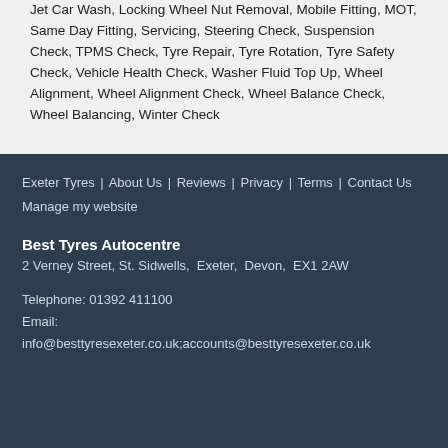Jet Car Wash, Locking Wheel Nut Removal, Mobile Fitting, MOT, Same Day Fitting, Servicing, Steering Check, Suspension Check, TPMS Check, Tyre Repair, Tyre Rotation, Tyre Safety Check, Vehicle Health Check, Washer Fluid Top Up, Wheel Alignment, Wheel Alignment Check, Wheel Balance Check, Wheel Balancing, Winter Check
Exeter Tyres | About Us | Reviews | Privacy | Terms | Contact Us
Manage my website
Best Tyres Autocentre
2 Verney Street, St. Sidwells, Exeter, Devon, EX1 2AW
Telephone: 01392 411100
Email:
info@besttyresexeter.co.uk;accounts@besttyresexeter.co.uk